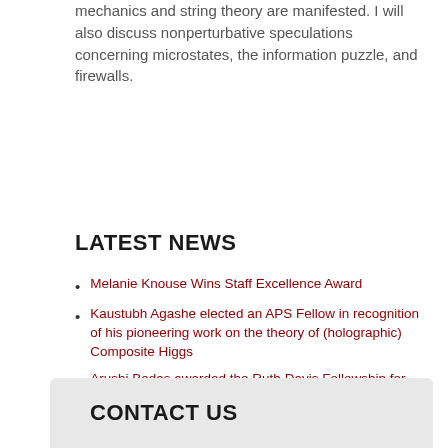mechanics and string theory are manifested. I will also discuss nonperturbative speculations concerning microstates, the information puzzle, and firewalls.
LATEST NEWS
Melanie Knouse Wins Staff Excellence Award
Kaustubh Agashe elected an APS Fellow in recognition of his pioneering work on the theory of (holographic) Composite Higgs
Arushi Bodas awarded the Ruth Davis Fellowship for Mathematics and Physics
CONTACT US